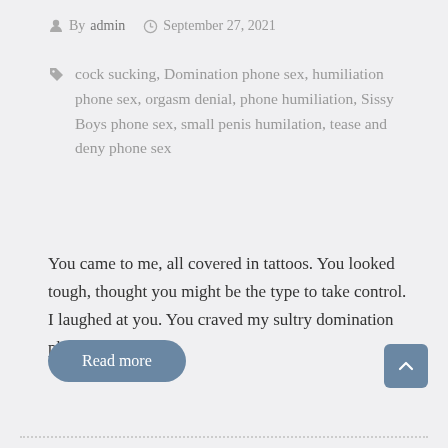By admin  September 27, 2021
cock sucking, Domination phone sex, humiliation phone sex, orgasm denial, phone humiliation, Sissy Boys phone sex, small penis humilation, tease and deny phone sex
You came to me, all covered in tattoos. You looked tough, thought you might be the type to take control. I laughed at you. You craved my sultry domination phone...
Read more